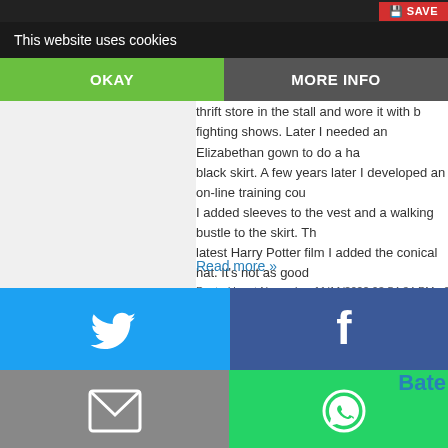This website uses cookies
These costume pieces have evolved into what you see now. O... thrift store in the stall and wore it with b... fighting shows. Later I needed an Elizabethan gown to do a ha... black skirt. A few years later I developed an on-line training cou... I added sleeves to the vest and a walking bustle to the skirt. Th... latest Harry Potter film I added the conical hat. It’s not as good ... the hats they built for the character in the Harry Potter movies!) bought hat with feathers et al. at the time) and was a witch. I us... porch. I like the texture of the bamboo handle and that it’s beat... many, many miles into the night.
Read more »
[Figure (screenshot): Cookie consent banner with OKAY and MORE INFO buttons, overlaid on article text. Below: social share buttons (Twitter blue, Facebook dark blue, Email grey, WhatsApp green, SMS blue, Share green). Small Twitter and Facebook icons on right side. Bate text link visible bottom right.]